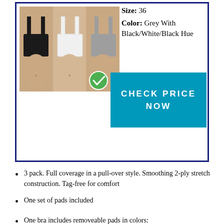[Figure (photo): Three women wearing sports bras in black, white, and grey colors. A green checkmark circle is overlaid on the image.]
Size: 36
Color: Grey With Black/White/Black Hue
CHECK PRICE NOW
3 pack. Full coverage in a pull-over style. Smoothing 2-ply stretch construction. Tag-free for comfort
One set of pads included
One bra includes removeable pads in colors: